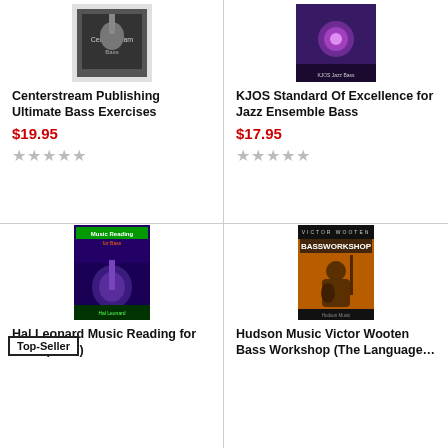[Figure (photo): Book cover for Centerstream Publishing Ultimate Bass Exercises]
Centerstream Publishing Ultimate Bass Exercises
$19.95
★★★★★
[Figure (photo): Book cover for KJOS Standard Of Excellence for Jazz Ensemble Bass]
KJOS Standard Of Excellence for Jazz Ensemble Bass
$17.95
★★★★★
[Figure (photo): Book cover for Hal Leonard Music Reading for Bass - Top-Seller badge shown]
Top-Seller
Hal Leonard Music Reading for Bass (Bass)
[Figure (photo): Book cover for Hudson Music Victor Wooten Bass Workshop (The Language...)]
Hudson Music Victor Wooten Bass Workshop (The Language...